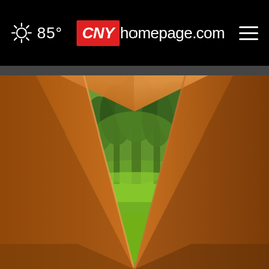85° CNYhomepage.com
[Figure (photo): View from inside an orange/tan canvas tent looking out through the open tent flap at a green meadow with trees in the background, lush green grass and foliage visible.]